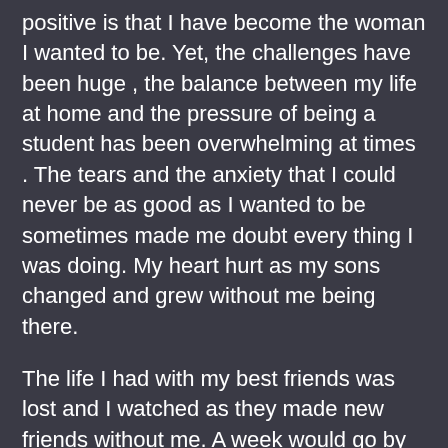positive is that I have become the woman I wanted to be. Yet, the challenges have been huge , the balance between my life at home and the pressure of being a student has been overwhelming at times . The tears and the anxiety that I could never be as good as I wanted to be sometimes made me doubt every thing I was doing. My heart hurt as my sons changed and grew without me being there.

The life I had with my best friends was lost and I watched as they made new friends without me. A week would go by without speaking to my friend and even though I knew she understood , the guilt of never having enough time made me sad. My husband was my rock and never doubted I could reach my goal. I will never forget his